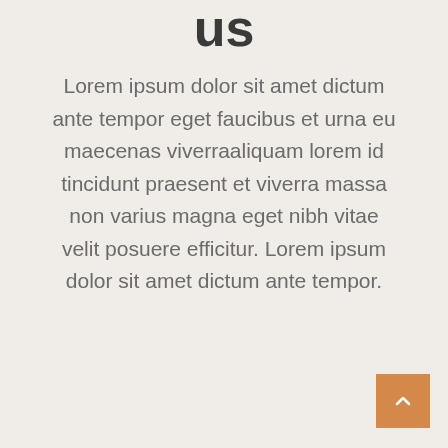us
Lorem ipsum dolor sit amet dictum ante tempor eget faucibus et urna eu maecenas viverraaliquam lorem id tincidunt praesent et viverra massa non varius magna eget nibh vitae velit posuere efficitur. Lorem ipsum dolor sit amet dictum ante tempor.
[Figure (other): Orange scroll-to-top button with upward chevron arrow]